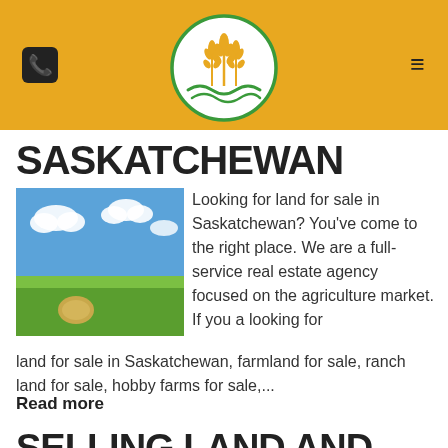[Figure (logo): Agricultural real estate logo: wheat/grain stalks inside a green circle with green field waves beneath, on a golden yellow background header]
SASKATCHEWAN
[Figure (photo): Farmland photo: green field under blue sky with white clouds and a hay bale]
Looking for land for sale in Saskatchewan?  You've come to the right place.  We are a full-service real estate agency focused on the agriculture market.  If you a looking for land for sale in Saskatchewan, farmland for sale, ranch land for sale, hobby farms for sale,...
Read more
SELLING LAND AND